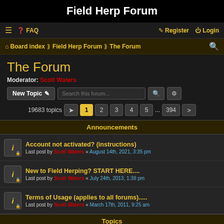Field Herp Forum
≡  ? FAQ    Register  Login
Board index › Field Herp Forum › The Forum
The Forum
Moderator: Scott Waters
New Topic  Search this forum...
19683 topics  1 2 3 4 5 ... 394 >
Announcements
Account not activated? (instructions)
Last post by Scott Waters « August 14th, 2021, 3:35 pm
New to Field Herping? START HERE....
Last post by Scott Waters « July 24th, 2013, 1:38 pm
Terms of Usage (applies to all forums).....
Last post by Scott Waters « March 17th, 2011, 9:25 am
Topics
Nerodia X Thamnophis Hybrid...?